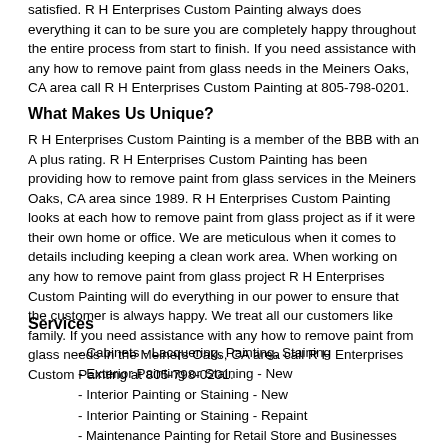satisfied. R H Enterprises Custom Painting always does everything it can to be sure you are completely happy throughout the entire process from start to finish. If you need assistance with any how to remove paint from glass needs in the Meiners Oaks, CA area call R H Enterprises Custom Painting at 805-798-0201.
What Makes Us Unique?
R H Enterprises Custom Painting is a member of the BBB with an A plus rating. R H Enterprises Custom Painting has been providing how to remove paint from glass services in the Meiners Oaks, CA area since 1989. R H Enterprises Custom Painting looks at each how to remove paint from glass project as if it were their own home or office. We are meticulous when it comes to details including keeping a clean work area. When working on any how to remove paint from glass project R H Enterprises Custom Painting will do everything in our power to ensure that the customer is always happy. We treat all our customers like family. If you need assistance with any how to remove paint from glass needs in the Meiners Oaks, CA area call R H Enterprises Custom Painting at 805-798-0201.
Services
- Cabinets - Lacquering, Painting, Staining
- Exterior Painting or Staining - New
- Interior Painting or Staining - New
- Interior Painting or Staining - Repaint
- Maintenance Painting for Retail Store and Businesses
- Paint Preparation